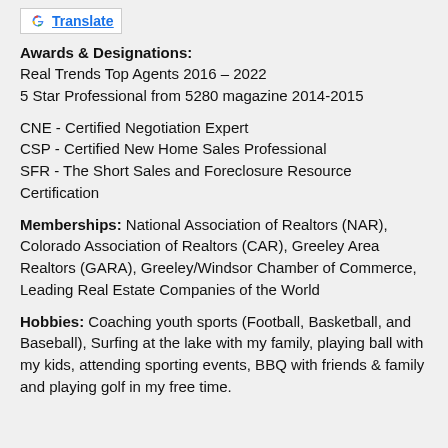Google Translate
Awards & Designations:
Real Trends Top Agents 2016 – 2022
5 Star Professional from 5280 magazine 2014-2015
CNE - Certified Negotiation Expert
CSP - Certified New Home Sales Professional
SFR - The Short Sales and Foreclosure Resource Certification
Memberships: National Association of Realtors (NAR), Colorado Association of Realtors (CAR), Greeley Area Realtors (GARA), Greeley/Windsor Chamber of Commerce, Leading Real Estate Companies of the World
Hobbies: Coaching youth sports (Football, Basketball, and Baseball), Surfing at the lake with my family, playing ball with my kids, attending sporting events, BBQ with friends & family and playing golf in my free time.